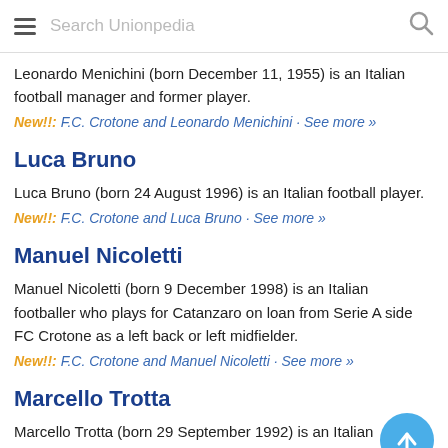Search Unionpedia
Leonardo Menichini (born December 11, 1955) is an Italian football manager and former player.
New!!: F.C. Crotone and Leonardo Menichini · See more »
Luca Bruno
Luca Bruno (born 24 August 1996) is an Italian football player.
New!!: F.C. Crotone and Luca Bruno · See more »
Manuel Nicoletti
Manuel Nicoletti (born 9 December 1998) is an Italian footballer who plays for Catanzaro on loan from Serie A side FC Crotone as a left back or left midfielder.
New!!: F.C. Crotone and Manuel Nicoletti · See more »
Marcello Trotta
Marcello Trotta (born 29 September 1992) is an Italian professional